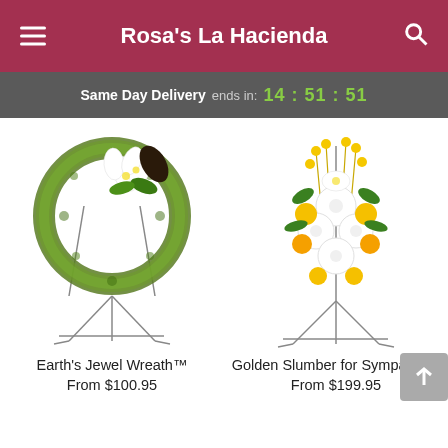Rosa's La Hacienda
Same Day Delivery ends in: 14:51:51
[Figure (photo): Earth's Jewel Wreath - a circular green moss wreath with white lilies and a dark calla lily on a metal stand]
Earth's Jewel Wreath™
From $100.95
[Figure (photo): Golden Slumber for Sympathy - a spray of yellow and white flowers including chrysanthemums and roses on a metal stand]
Golden Slumber for Sympathy™
From $199.95